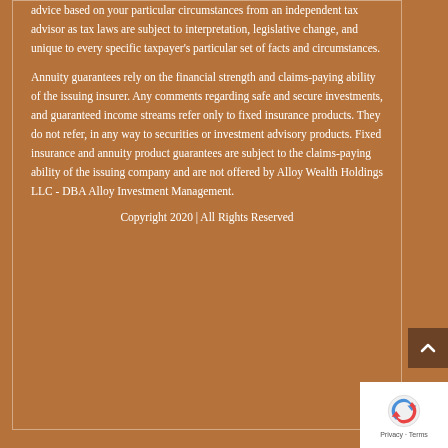advice based on your particular circumstances from an independent tax advisor as tax laws are subject to interpretation, legislative change, and unique to every specific taxpayer's particular set of facts and circumstances.
Annuity guarantees rely on the financial strength and claims-paying ability of the issuing insurer. Any comments regarding safe and secure investments, and guaranteed income streams refer only to fixed insurance products. They do not refer, in any way to securities or investment advisory products. Fixed insurance and annuity product guarantees are subject to the claims-paying ability of the issuing company and are not offered by Alloy Wealth Holdings LLC - DBA Alloy Investment Management.
Copyright 2020 | All Rights Reserved